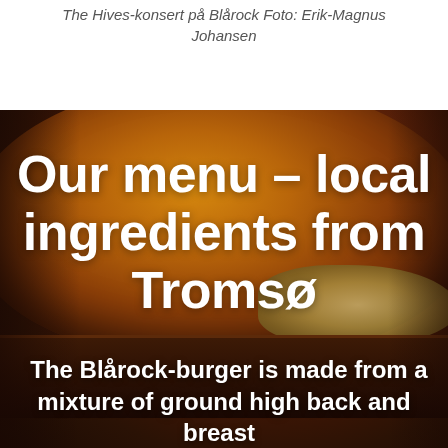The Hives-konsert på Blårock Foto: Erik-Magnus Johansen
[Figure (photo): Close-up photo of a burger with a sesame-dusted bun, lettuce, and dark patty, serving as a full-bleed background image]
Our menu – local ingredients from Tromsø
The Blårock-burger is made from a mixture of ground high back and breast